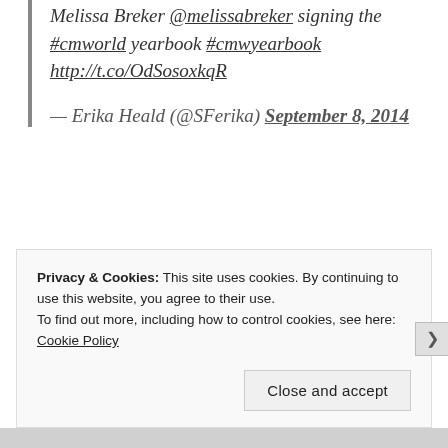Melissa Breker @melissabreker signing the #cmworld yearbook #cmwyearbook http://t.co/OdSosoxkqR
– Erika Heald (@SFerika) September 8, 2014
Privacy & Cookies: This site uses cookies. By continuing to use this website, you agree to their use. To find out more, including how to control cookies, see here: Cookie Policy